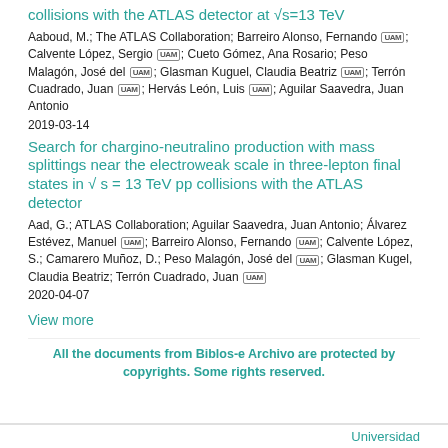collisions with the ATLAS detector at √s=13 TeV
Aaboud, M.; The ATLAS Collaboration; Barreiro Alonso, Fernando [UAM]; Calvente López, Sergio [UAM]; Cueto Gómez, Ana Rosario; Peso Malagón, José del [UAM]; Glasman Kuguel, Claudia Beatriz [UAM]; Terrón Cuadrado, Juan [UAM]; Hervás León, Luis [UAM]; Aguilar Saavedra, Juan Antonio
2019-03-14
Search for chargino-neutralino production with mass splittings near the electroweak scale in three-lepton final states in √ s = 13 TeV pp collisions with the ATLAS detector
Aad, G.; ATLAS Collaboration; Aguilar Saavedra, Juan Antonio; Álvarez Estévez, Manuel [UAM]; Barreiro Alonso, Fernando [UAM]; Calvente López, S.; Camarero Muñoz, D.; Peso Malagón, José del [UAM]; Glasman Kugel, Claudia Beatriz; Terrón Cuadrado, Juan [UAM]
2020-04-07
View more
All the documents from Biblos-e Archivo are protected by copyrights. Some rights reserved.
Universidad